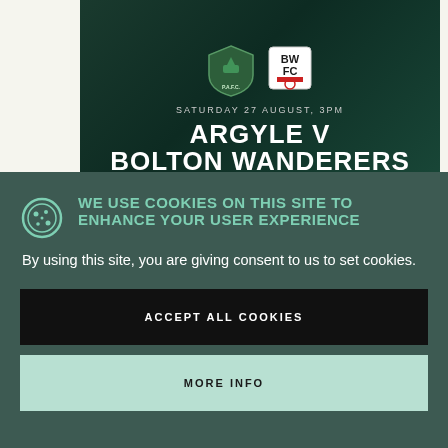[Figure (illustration): Sports match promotional banner for Plymouth Argyle vs Bolton Wanderers on Saturday 27 August, 3PM, with club crests on dark green background]
WE USE COOKIES ON THIS SITE TO ENHANCE YOUR USER EXPERIENCE
By using this site, you are giving consent to us to set cookies.
ACCEPT ALL COOKIES
MORE INFO